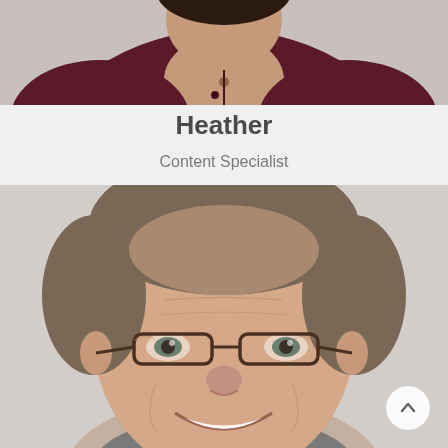[Figure (photo): Top portion of a woman wearing a dark maroon/burgundy shirt, partial face visible at top, torso shot]
Heather
Content Specialist
[Figure (photo): Headshot of a middle-aged man with short gray-brown hair, wearing glasses with thin dark frames, smiling warmly, wearing a gray shirt, photographed against a light gray background]